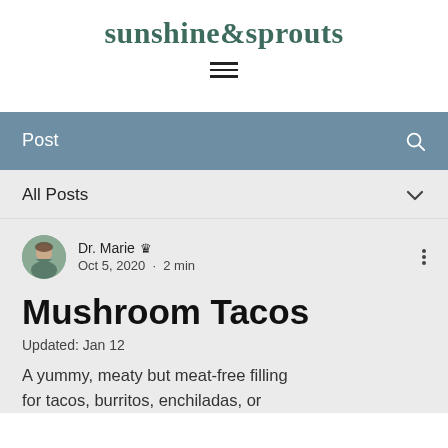sunshine&sprouts
[Figure (other): Hamburger menu icon with three horizontal lines]
Post
All Posts
Dr. Marie  Oct 5, 2020 · 2 min
Mushroom Tacos
Updated: Jan 12
A yummy, meaty but meat-free filling for tacos, burritos, enchiladas, or